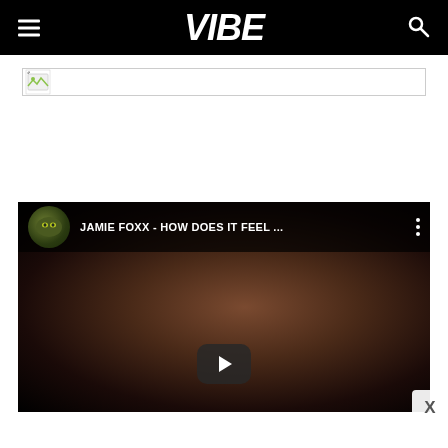VIBE
[Figure (screenshot): Ad banner placeholder with broken image icon]
[Figure (screenshot): YouTube video embed showing JAMIE FOXX - HOW DOES IT FEEL ... with play button, dark background showing torso]